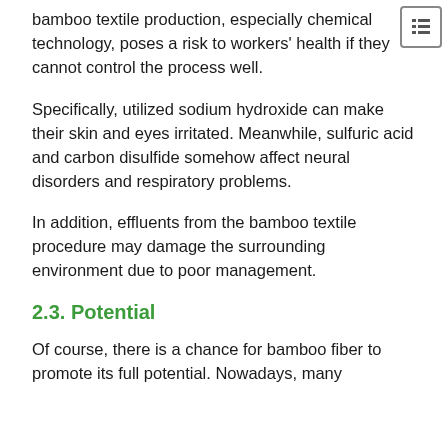bamboo textile production, especially chemical technology, poses a risk to workers' health if they cannot control the process well.
Specifically, utilized sodium hydroxide can make their skin and eyes irritated. Meanwhile, sulfuric acid and carbon disulfide somehow affect neural disorders and respiratory problems.
In addition, effluents from the bamboo textile procedure may damage the surrounding environment due to poor management.
2.3. Potential
Of course, there is a chance for bamboo fiber to promote its full potential. Nowadays, many